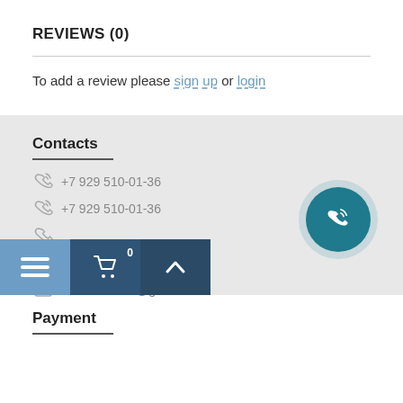REVIEWS (0)
To add a review please sign up or login
Contacts
+7 929 510-01-36
+7 929 510-01-36
Mon—Fri 09:00—18:00
btsoffice2016@gmail.com
Payment